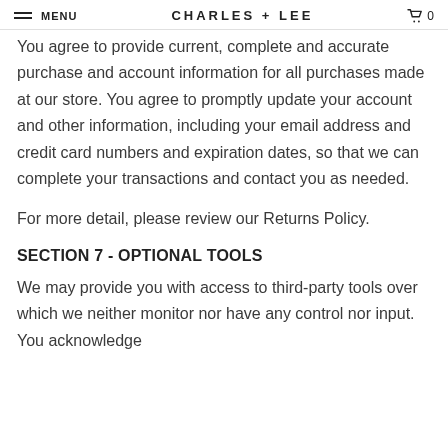MENU  CHARLES + LEE  0
You agree to provide current, complete and accurate purchase and account information for all purchases made at our store. You agree to promptly update your account and other information, including your email address and credit card numbers and expiration dates, so that we can complete your transactions and contact you as needed.
For more detail, please review our Returns Policy.
SECTION 7 - OPTIONAL TOOLS
We may provide you with access to third-party tools over which we neither monitor nor have any control nor input. You acknowledge